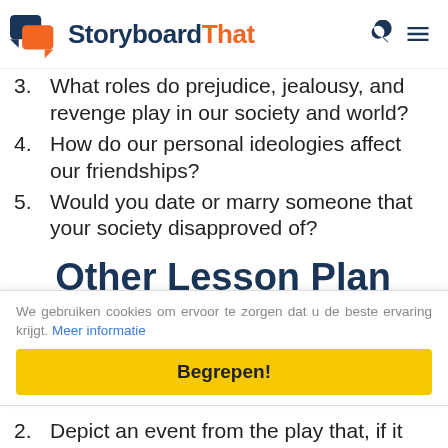StoryboardThat
3. What roles do prejudice, jealousy, and revenge play in our society and world?
4. How do our personal ideologies affect our friendships?
5. Would you date or marry someone that your society disapproved of?
Other Lesson Plan Ideas
We gebruiken cookies om ervoor te zorgen dat u de beste ervaring krijgt. Meer informatie
Begrepen!
2. Depict an event from the play that, if it